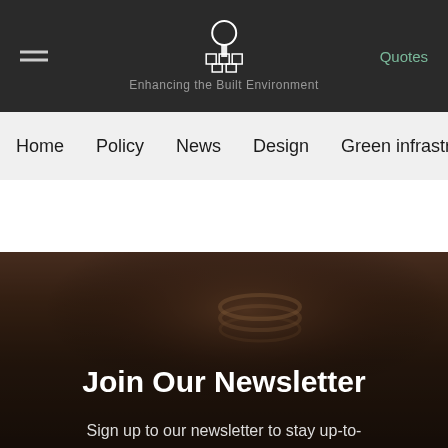Enhancing the Built Environment
Home
Policy
News
Design
Green infrastructure
Join Our Newsletter
Sign up to our newsletter to stay up-to-